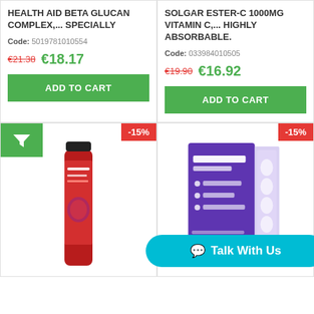HEALTH AID BETA GLUCAN COMPLEX,... SPECIALLY
Code: 5019781010554
€21.38  €18.17
ADD TO CART
SOLGAR ESTER-C 1000MG VITAMIN C,... HIGHLY ABSORBABLE.
Code: 033984010505
€19.90  €16.92
ADD TO CART
-15%
[Figure (photo): Leros Vitamin C & Energy effervescent tube product with red/berry design]
-15%
[Figure (photo): Manhae Sérénité supplement box product in purple]
Talk With Us